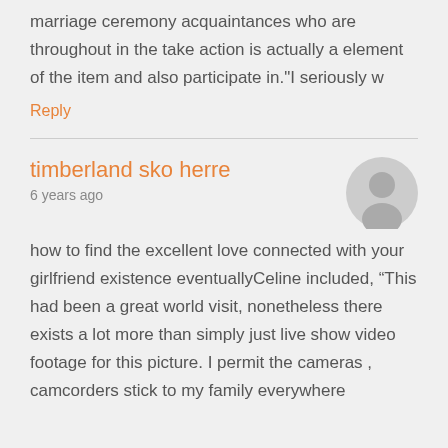marriage ceremony acquaintances who are throughout in the take action is actually a element of the item and also participate in."I seriously w
Reply
timberland sko herre
6 years ago
how to find the excellent love connected with your girlfriend existence eventuallyCeline included, “This had been a great world visit, nonetheless there exists a lot more than simply just live show video footage for this picture. I permit the cameras , camcorders stick to my family everywhere